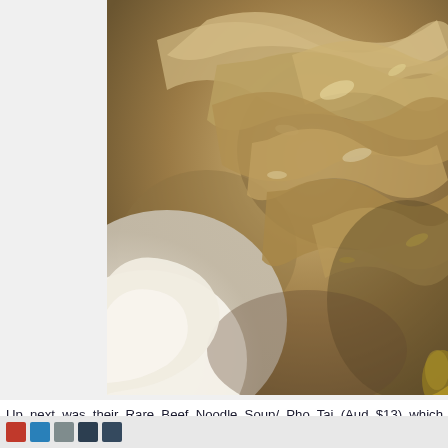[Figure (photo): Close-up photo of noodles in a white bowl with broth, likely Pho noodle soup, showing thick translucent noodles glistening in rich brown beef broth]
Up next was their Rare Beef Noodle Soup/ Pho Tai (Aud $13) which noodles with thick and rich Beef Broth (with side condiments of Be soup was clear, but thick and flavorful to my liking, the best part brilliantly level up by adding some refreshing Basil leaves and Lemo yet palatable. However, extra marks will be given if the soup can be
[Figure (screenshot): Advertisement banner for Chewy.com - Pet Food, Products, Supplies at Low Prices. Shows pet product images on left, ad text in center, and a blue circular arrow button on right. chewy.com URL shown.]